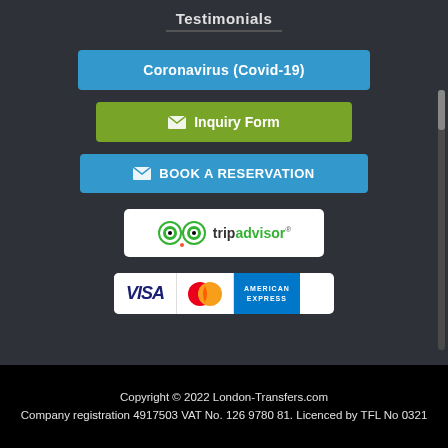Testimonials
[Figure (other): Blue button labeled Coronavirus (Covid-19)]
[Figure (other): Green button with envelope icon labeled Inquiry Form]
[Figure (other): Blue button with envelope icon labeled BOOK A RESERVATION]
[Figure (logo): TripAdvisor logo with owl eyes icons and tripadvisor text]
[Figure (logo): Payment logos: VISA, MasterCard, American Express]
Copyright © 2022 London-Transfers.com
Company registration 4917503 VAT No. 126 9780 81. Licenced by TFL No 0321